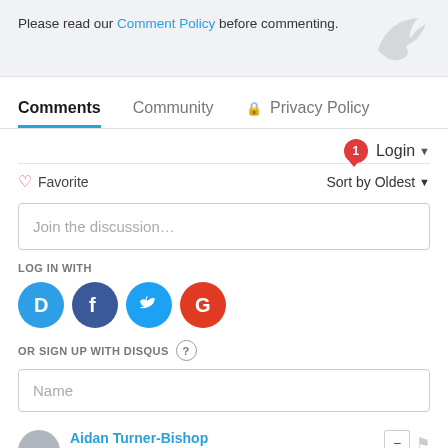Please read our Comment Policy before commenting.
Comments   Community   Privacy Policy
Login ▾
♡ Favorite    Sort by Oldest ▾
Join the discussion…
LOG IN WITH
[Figure (infographic): Four social login icons: Disqus (blue D), Facebook (dark blue f), Twitter (light blue bird), Google (red G)]
OR SIGN UP WITH DISQUS ?
Name
Aidan Turner-Bishop
2 years ago